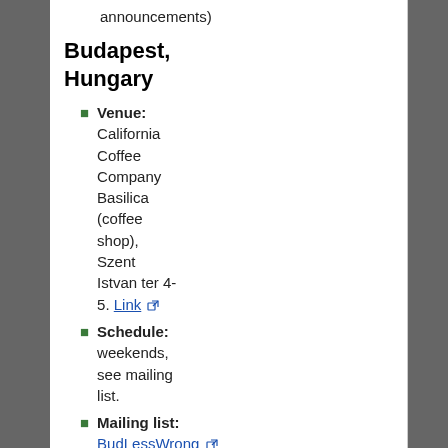announcements)
Budapest, Hungary
Venue: California Coffee Company Basilica (coffee shop), Szent Istvan ter 4-5. Link
Schedule: weekends, see mailing list.
Mailing list: BudLessWrong
Contact AlexeyM or